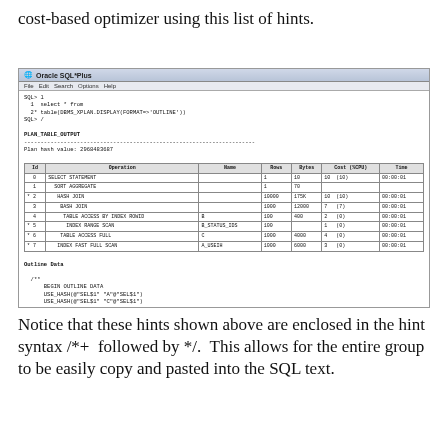cost-based optimizer using this list of hints.
[Figure (screenshot): Oracle SQL*Plus window showing a query selecting from DBMS_XPLAN.DISPLAY with OUTLINE format, displaying PLAN_TABLE_OUTPUT with plan hash value 2968483687, execution plan table with operations including SELECT STATEMENT, SORT AGGREGATE, HASH JOIN, BASH JOIN, TABLE ACCESS BY INDEX ROWID, INDEX RANGE SCAN, TABLE ACCESS FULL, INDEX FAST FULL SCAN, and Outline Data section with hints including BEGIN OUTLINE DATA, USE_HASH, LEADING, INDEX_FFS, FULL, INDEX_RS_ASC, OUTLINE_LEAF, ALL_ROWS, DB_VERSION, OPTIMIZER_FEATURES_ENABLE, IGNORE_OPTIM_EMBEDDED_HINTS, END_OUTLINE_DATA]
Notice that these hints shown above are enclosed in the hint syntax /*+  followed by */.  This allows for the entire group to be easily copy and pasted into the SQL text.